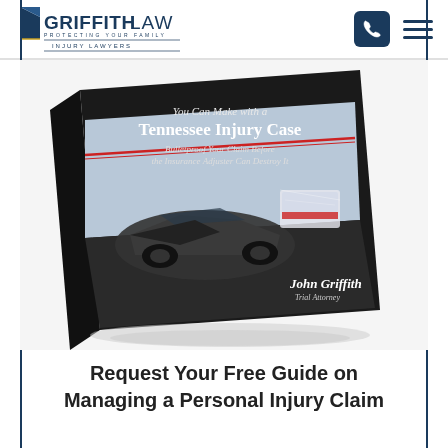Griffith Law — Protecting Your Family — Injury Lawyers
[Figure (photo): Book cover showing 'You Can Make with a Tennessee Injury Case — Bulletproof Your Claim Before the Insurance Adjuster Can Destroy It' by John Griffith, Trial Attorney. The book shows a car accident scene with emergency vehicles.]
Request Your Free Guide on Managing a Personal Injury Claim in Tennessee